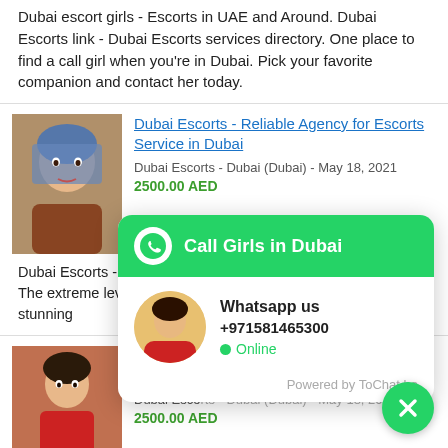Dubai escort girls - Escorts in UAE and Around. Dubai Escorts link - Dubai Escorts services directory. One place to find a call girl when you're in Dubai. Pick your favorite companion and contact her today.
[Figure (photo): Thumbnail photo of a woman in a blue headscarf]
Dubai Escorts - Reliable Agency for Escorts Service in Dubai
Dubai Escorts - Dubai (Dubai) - May 18, 2021
2500.00 AED
Dubai Escorts - Reliable Agency for Escorts Service in Dubai The extreme level of fun by stunning professional escorts in
[Figure (screenshot): WhatsApp chat widget overlay with green header reading 'Call Girls in Dubai', showing Whatsapp us +971581465300, Online status, Powered by ToChat.be]
[Figure (photo): Thumbnail photo of a woman in a red outfit]
Dubai es... Club.
Dubai Escorts - Dubai (Dubai) - May 18, 2021
2500.00 AED
Dubai escorts. Only VIP girls. UAE Men's Club. Dubai escorts from many countries...